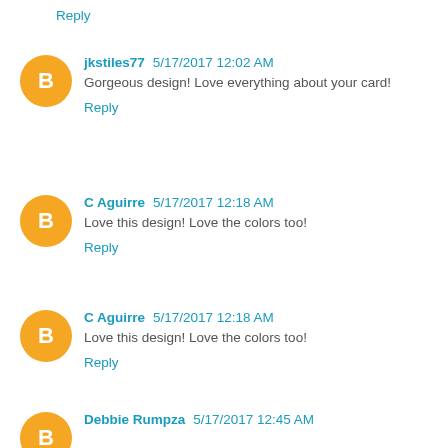Reply
jkstiles77  5/17/2017 12:02 AM
Gorgeous design! Love everything about your card!
Reply
C Aguirre  5/17/2017 12:18 AM
Love this design! Love the colors too!
Reply
C Aguirre  5/17/2017 12:18 AM
Love this design! Love the colors too!
Reply
Debbie Rumpza  5/17/2017 12:45 AM